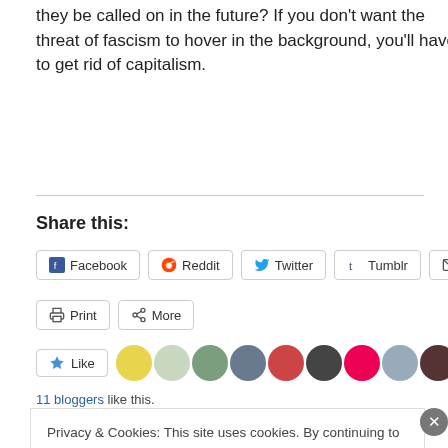they be called on in the future? If you don't want the threat of fascism to hover in the background, you'll have to get rid of capitalism.
Share this:
Facebook Reddit Twitter Tumblr Email Print More
11 bloggers like this.
Privacy & Cookies: This site uses cookies. By continuing to use this website, you agree to their use. To find out more, including how to control cookies, see here: Cookie Policy